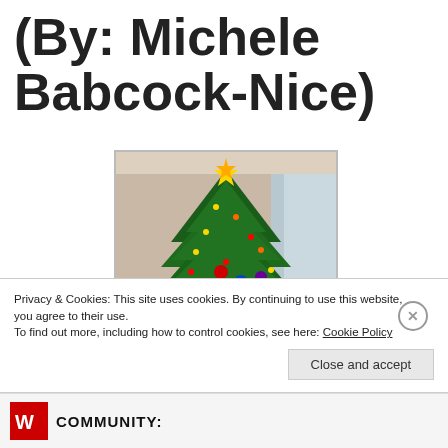(By: Michele Babcock-Nice)
[Figure (photo): A decorated Christmas tree with colorful ornaments, lights, a star topper, and various decorations, photographed indoors against a beige wall with a curtained window visible to the right.]
Privacy & Cookies: This site uses cookies. By continuing to use this website, you agree to their use.
To find out more, including how to control cookies, see here: Cookie Policy